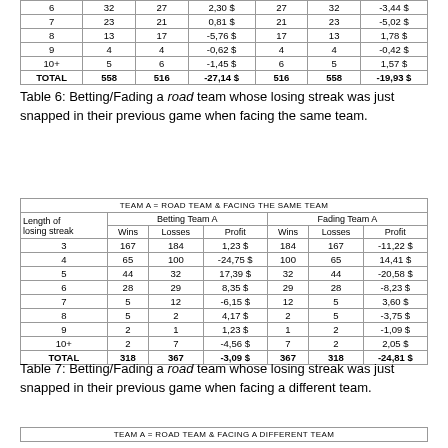|  | Wins | Losses | Profit | Wins | Losses | Profit |
| --- | --- | --- | --- | --- | --- | --- |
| 6 | 32 | 27 | 2,30 $ | 27 | 32 | -3,44 $ |
| 7 | 23 | 21 | 0,81 $ | 21 | 23 | -5,02 $ |
| 8 | 13 | 17 | -5,76 $ | 17 | 13 | 1,78 $ |
| 9 | 4 | 4 | -0,62 $ | 4 | 4 | -0,42 $ |
| 10+ | 5 | 6 | -1,45 $ | 6 | 5 | 1,57 $ |
| TOTAL | 558 | 516 | -27,14 $ | 516 | 558 | -19,93 $ |
Table 6: Betting/Fading a road team whose losing streak was just snapped in their previous game when facing the same team.
| TEAM A = ROAD TEAM & FACING THE SAME TEAM |
| --- |
| Length of losing streak | Wins | Losses | Profit | Wins | Losses | Profit |
| 3 | 167 | 184 | 1,23 $ | 184 | 167 | -11,22 $ |
| 4 | 65 | 100 | -24,75 $ | 100 | 65 | 14,41 $ |
| 5 | 44 | 32 | 17,39 $ | 32 | 44 | -20,58 $ |
| 6 | 28 | 29 | 8,35 $ | 29 | 28 | -8,23 $ |
| 7 | 5 | 12 | -6,15 $ | 12 | 5 | 3,60 $ |
| 8 | 5 | 2 | 4,17 $ | 2 | 5 | -3,75 $ |
| 9 | 2 | 1 | 1,23 $ | 1 | 2 | -1,09 $ |
| 10+ | 2 | 7 | -4,56 $ | 7 | 2 | 2,05 $ |
| TOTAL | 318 | 367 | -3,09 $ | 367 | 318 | -24,81 $ |
Table 7: Betting/Fading a road team whose losing streak was just snapped in their previous game when facing a different team.
| TEAM A = ROAD TEAM & FACING A DIFFERENT TEAM |
| --- |